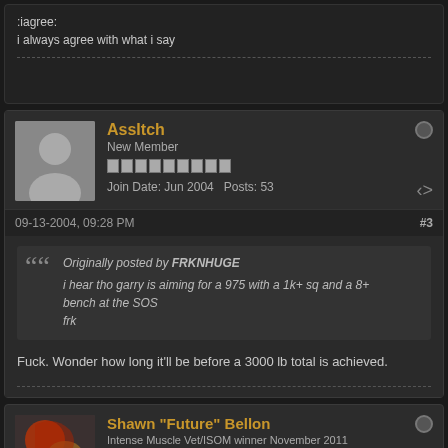:iagree:
i always agree with what i say
AssItch
New Member
Join Date: Jun 2004   Posts: 53
09-13-2004, 09:28 PM
#3
Originally posted by FRKNHUGE
i hear tho garry is aiming for a 975 with a 1k+ sq and a 8+ bench at the SOS
frk
Fuck. Wonder how long it'll be before a 3000 lb total is achieved.
Shawn "Future" Bellon
Intense Muscle Vet/ISOM winner November 2011